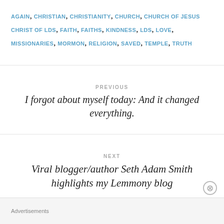AGAIN, CHRISTIAN, CHRISTIANITY, CHURCH, CHURCH OF JESUS CHRIST OF LDS, FAITH, FAITHS, KINDNESS, LDS, LOVE, MISSIONARIES, MORMON, RELIGION, SAVED, TEMPLE, TRUTH
PREVIOUS
I forgot about myself today: And it changed everything.
NEXT
Viral blogger/author Seth Adam Smith highlights my Lemmony blog
Advertisements